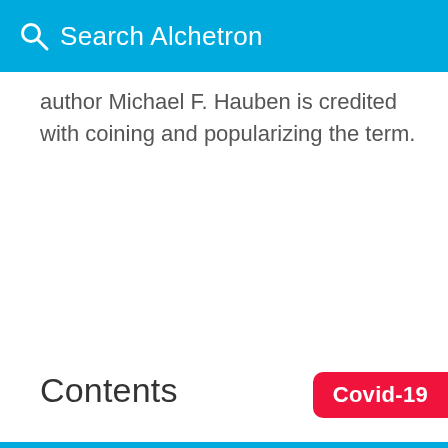Search Alchetron
author Michael F. Hauben is credited with coining and popularizing the term.
Contents
Covid-19